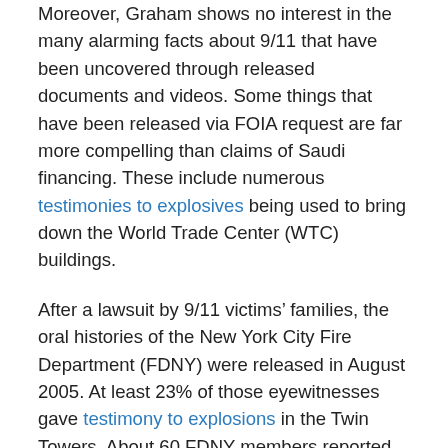Moreover, Graham shows no interest in the many alarming facts about 9/11 that have been uncovered through released documents and videos. Some things that have been released via FOIA request are far more compelling than claims of Saudi financing. These include numerous testimonies to explosives being used to bring down the World Trade Center (WTC) buildings.
After a lawsuit by 9/11 victims' families, the oral histories of the New York City Fire Department (FDNY) were released in August 2005. At least 23% of those eyewitnesses gave testimony to explosions in the Twin Towers. About 60 FDNY members reported hearing warnings of the unpredictable “collapse” of WTC Building 7.
Still held secret by the National Institute of Standards and Technology (NIST) are the agency’s computer models on